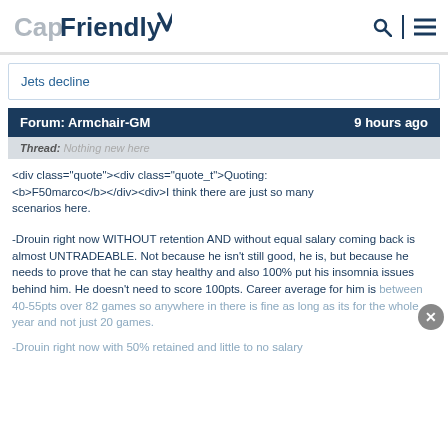CapFriendly
Jets decline
Forum: Armchair-GM   9 hours ago
Thread: Nothing new here
<div class="quote"><div class="quote_t">Quoting: <b>F50marco</b></div><div>I think there are just so many scenarios here.
-Drouin right now WITHOUT retention AND without equal salary coming back is almost UNTRADEABLE. Not because he isn't still good, he is, but because he needs to prove that he can stay healthy and also 100% put his insomnia issues behind him. He doesn't need to score 100pts. Career average for him is between 40-55pts over 82 games so anywhere in there is fine as long as its for the whole year and not just 20 games.
-Drouin right now with 50% retained and little to no salary